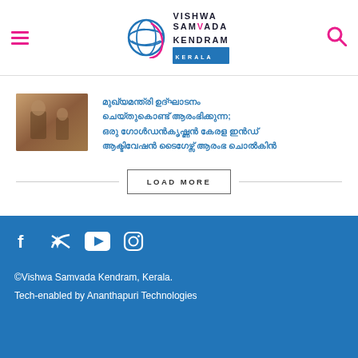Vishwa Samvada Kendram Kerala
[Figure (photo): Thumbnail photo of a person speaking, warm brown tones]
Malayalam headline text (article title in Malayalam script)
LOAD MORE
©Vishwa Samvada Kendram, Kerala. Tech-enabled by Ananthapuri Technologies